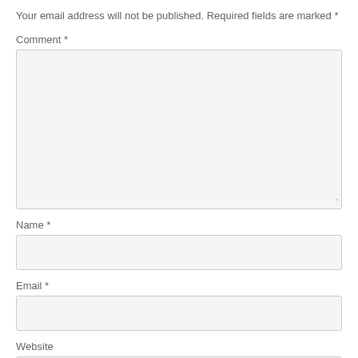Your email address will not be published. Required fields are marked *
Comment *
[Figure (other): Large textarea input box for comment field with resize handle]
Name *
[Figure (other): Single-line text input box for name field]
Email *
[Figure (other): Single-line text input box for email field]
Website
[Figure (other): Single-line text input box for website field (partially visible)]